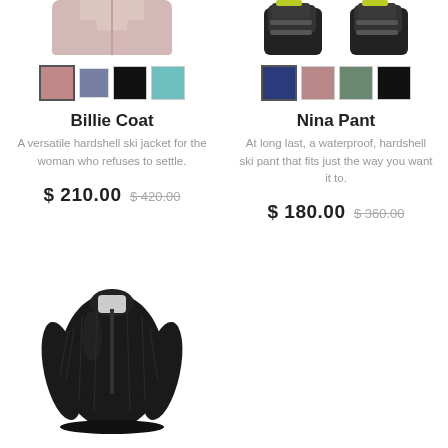[Figure (photo): Top portion of a pink/mauve hardshell ski jacket, cropped at top]
[Figure (photo): Ski boots with black bindings, cropped at top]
[Figure (other): Color swatches for Billie Coat: mauve/pink, navy/blue, black, teal]
[Figure (other): Color swatches for Nina Pant: navy, mauve/pink, sage green, black]
Billie Coat
Nina Pant
A versatile hardshell ski jacket for the woman who refuses to settle.
At long last, a waterproof, hardshell ski pant that fits just the way you want it to.
$ 210.00 $ 420.00
$ 180.00 $ 360.00
[Figure (photo): Black insulated women's jacket displayed on a model, lower portion of page]